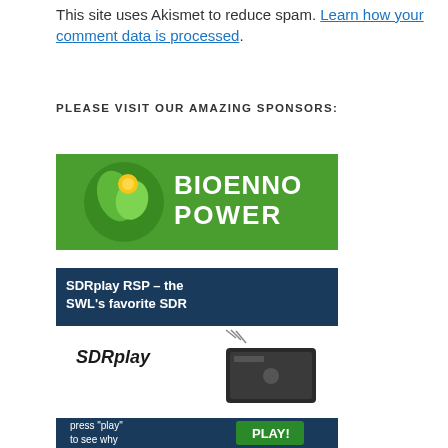This site uses Akismet to reduce spam. Learn how your comment data is processed.
PLEASE VISIT OUR AMAZING SPONSORS:
[Figure (logo): Bioenno Power advertisement banner with green logo and white text on green background]
[Figure (advertisement): SDRplay RSP advertisement: 'SDRplay RSP – the SWL's favorite SDR', shows SDRplay device with logo, press play button, and Eileen testimonial for DXtreme Monitor Log 12]